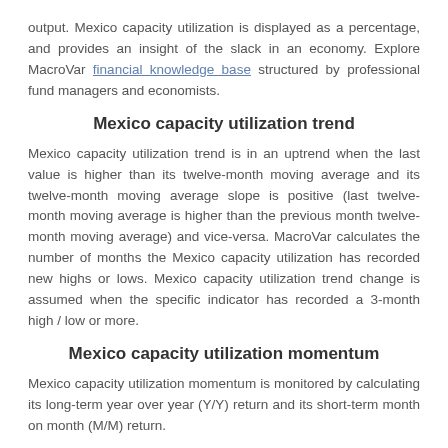output. Mexico capacity utilization is displayed as a percentage, and provides an insight of the slack in an economy. Explore MacroVar financial knowledge base structured by professional fund managers and economists.
Mexico capacity utilization trend
Mexico capacity utilization trend is in an uptrend when the last value is higher than its twelve-month moving average and its twelve-month moving average slope is positive (last twelve-month moving average is higher than the previous month twelve-month moving average) and vice-versa. MacroVar calculates the number of months the Mexico capacity utilization has recorded new highs or lows. Mexico capacity utilization trend change is assumed when the specific indicator has recorded a 3-month high / low or more.
Mexico capacity utilization momentum
Mexico capacity utilization momentum is monitored by calculating its long-term year over year (Y/Y) return and its short-term month on month (M/M) return.